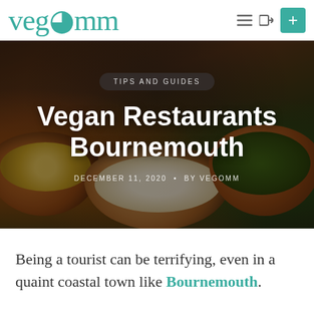vegomm
[Figure (photo): Hero image of multiple copper bowls filled with various vegan foods including corn salsa, pasta/noodles, and chopped herbs on a dark wooden table, with a dark overlay. Category badge reading 'TIPS AND GUIDES', large title 'Vegan Restaurants Bournemouth', and meta text 'DECEMBER 11, 2020 • BY VEGOMM'.]
Being a tourist can be terrifying, even in a quaint coastal town like Bournemouth.